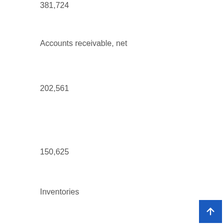381,724
Accounts receivable, net
202,561
150,625
Inventories